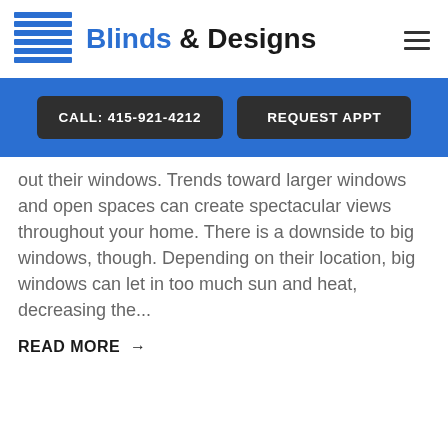[Figure (logo): Blinds & Designs logo with horizontal blue blind slats icon on the left and text 'Blinds & Designs' on the right]
CALL: 415-921-4212
REQUEST APPT
out their windows. Trends toward larger windows and open spaces can create spectacular views throughout your home. There is a downside to big windows, though. Depending on their location, big windows can let in too much sun and heat, decreasing the...
READ MORE →